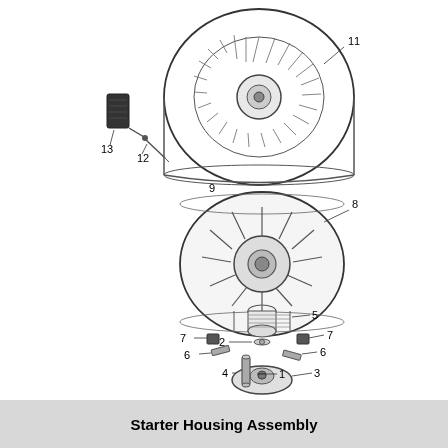[Figure (engineering-diagram): Exploded view diagram of a Starter Housing Assembly showing parts labeled 1 through 13. Top portion shows the recoil starter housing (11) with pull handle (13) and attachment hardware (12, 9). Middle shows the starter pulley/reel assembly (8) with pawl components (7, 6), center hub (3), washer (4). Bottom shows spring (5), washer (2), and pin (1).]
Starter Housing Assembly